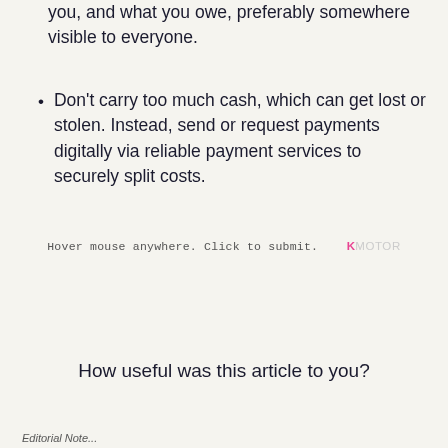you, and what you owe, preferably somewhere visible to everyone.
Don't carry too much cash, which can get lost or stolen. Instead, send or request payments digitally via reliable payment services to securely split costs.
Hover mouse anywhere. Click to submit.    KMOTOR
How useful was this article to you?
Editorial Note...